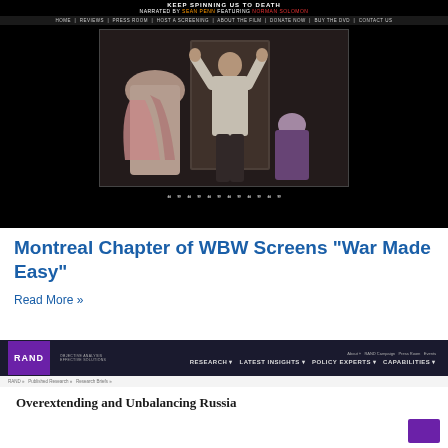[Figure (screenshot): Screenshot of a documentary film website 'Keep Spinning Us to Death', narrated by Sean Penn featuring Norman Solomon, showing a video frame of people with hands raised against a wall. Navigation bar includes Home, Reviews, Press Room, Host a Screening, About the Film, Donate Now, Buy the DVD, Contact Us.]
Montreal Chapter of WBW Screens “War Made Easy”
Read More »
[Figure (screenshot): Screenshot of the RAND Corporation website showing navigation with Research, Latest Insights, Policy Experts, Capabilities menus. Breadcrumb shows RAND > Published Research > Research Briefs. Article title visible: 'Overextending and Unbalancing Russia']